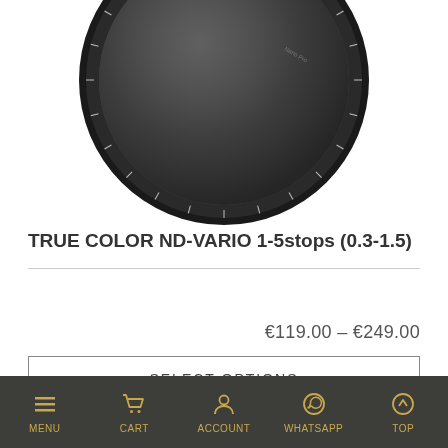[Figure (photo): A circular camera lens filter (ND-Vario) with a dark grey glass surface and black metallic ring with markings, partially cropped at the top of the page.]
TRUE COLOR ND-VARIO 1-5stops (0.3-1.5)
€119.00 – €249.00
SELECT OPTIONS
MENU  CART  ACCOUNT  WHATSAPP  TOP